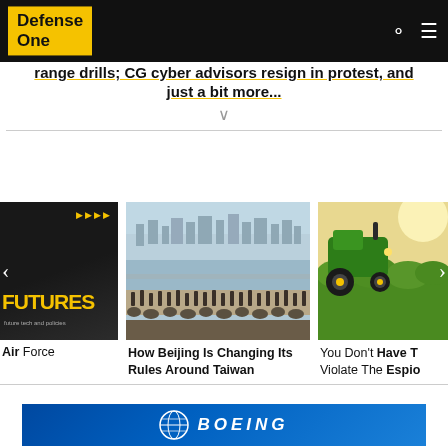Defense One
range drills; CG cyber advisors resign in protest, and just a bit more...
[Figure (screenshot): Carousel of article cards: Futures podcast thumbnail, Taiwan coastline with anti-landing obstacles, tractor near hedges. Navigation arrows visible on left and right.]
Air Force
How Beijing Is Changing Its Rules Around Taiwan
You Don't Have To Violate The Espio
[Figure (photo): Boeing advertisement banner with globe logo on blue background]